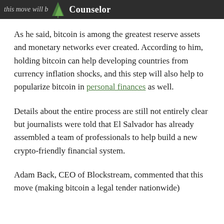this move will b… Counselor
As he said, bitcoin is among the greatest reserve assets and monetary networks ever created. According to him, holding bitcoin can help developing countries from currency inflation shocks, and this step will also help to popularize bitcoin in personal finances as well.
Details about the entire process are still not entirely clear but journalists were told that El Salvador has already assembled a team of professionals to help build a new crypto-friendly financial system.
Adam Back, CEO of Blockstream, commented that this move (making bitcoin a legal tender nationwide)